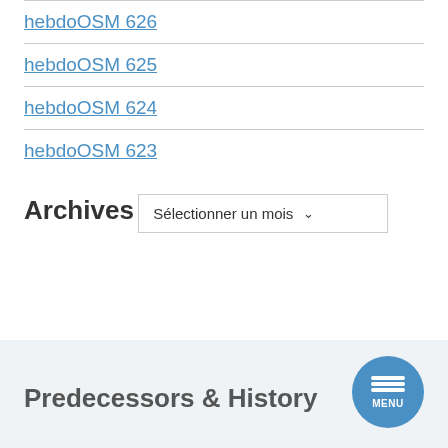hebdoOSM 626
hebdoOSM 625
hebdoOSM 624
hebdoOSM 623
Archives
Sélectionner un mois
Predecessors & History
[Figure (other): Circular blue menu button with three horizontal white bars and MENU label]